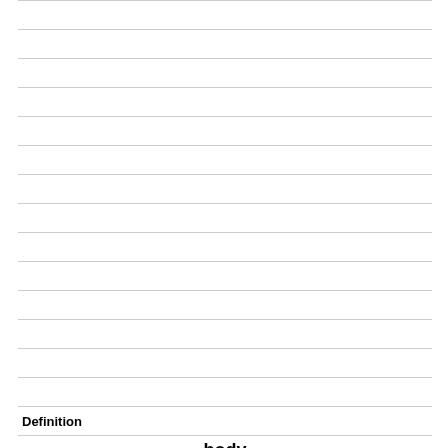|  |
|  |
|  |
|  |
|  |
|  |
|  |
|  |
|  |
|  |
|  |
|  |
|  |
|  |
|  |
|  |
| Definition |
| body |
|  |
|  |
|  |
|  |
|  |
|  |
|  |
|  |
|  |
|  |
|  |
|  |
|  |
|  |
| Term |